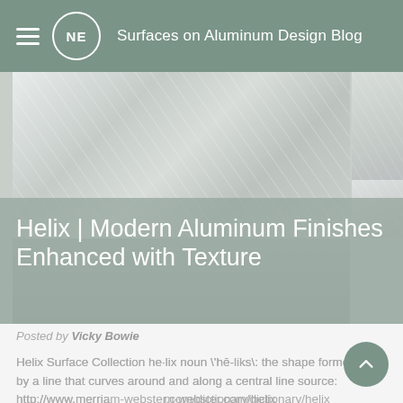Surfaces on Aluminum Design Blog
[Figure (photo): Two aluminum surface texture panels side by side showing diagonal brushed/ribbed metallic texture in light grey tones]
Helix | Modern Aluminum Finishes Enhanced with Texture
Posted by Vicky Bowie
Helix Surface Collection he·lix noun \'hē-liks\: the shape formed by a line that curves around and along a central line source: http://www.merriam-webster.com/dictionary/helix